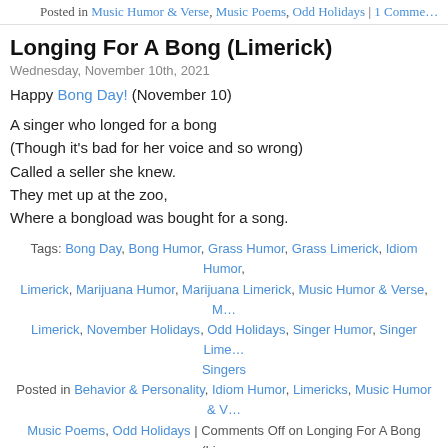Posted in Music Humor & Verse, Music Poems, Odd Holidays | 1 Comme...
Longing For A Bong (Limerick)
Wednesday, November 10th, 2021
Happy Bong Day! (November 10)
A singer who longed for a bong
(Though it's bad for her voice and so wrong)
Called a seller she knew.
They met up at the zoo,
Where a bongload was bought for a song.
Tags: Bong Day, Bong Humor, Grass Humor, Grass Limerick, Idiom Humor, Limerick, Marijuana Humor, Marijuana Limerick, Music Humor & Verse, M... Limerick, November Holidays, Odd Holidays, Singer Humor, Singer Lime... Singers
Posted in Behavior & Personality, Idiom Humor, Limericks, Music Humor & ... Music Poems, Odd Holidays | Comments Off on Longing For A Bong (Lime...
Celebrating Sax (Limerick)
Saturday, November 6th, 2021
Happy "Sax Day!" And happy birthday to Adolphe Sax, its inventor! (Novemb...
A horny musician named Phil
When flirting would trumpet his skill...